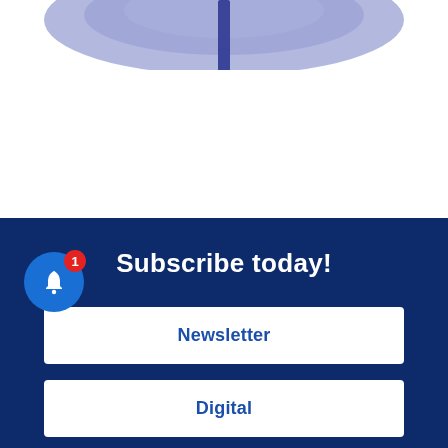[Figure (photo): Top partial image showing a blue/purple circular object on a blue background, partially visible at the top of the page]
Subscribe today!
Newsletter
Digital
Print
[Figure (illustration): Blue notification bell icon with a red badge showing the number 1]
Follow Us